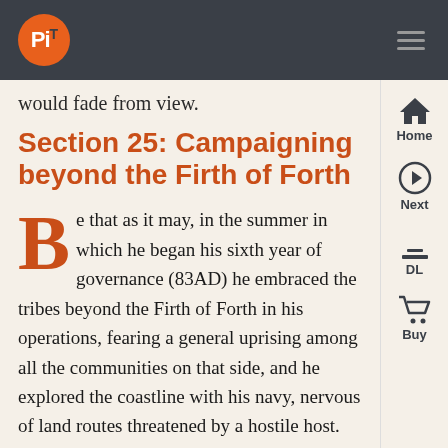PiT [logo] navigation bar
would fade from view.
Section 25: Campaigning beyond the Firth of Forth
Be that as it may, in the summer in which he began his sixth year of governance (83AD) he embraced the tribes beyond the Firth of Forth in his operations, fearing a general uprising among all the communities on that side, and he explored the coastline with his navy, nervous of land routes threatened by a hostile host. Agricola